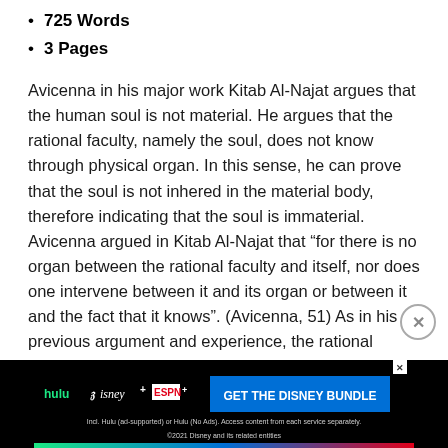725 Words
3 Pages
Avicenna in his major work Kitab Al-Najat argues that the human soul is not material. He argues that the rational faculty, namely the soul, does not know through physical organ. In this sense, he can prove that the soul is not inhered in the material body, therefore indicating that the soul is immaterial. Avicenna argued in Kitab Al-Najat that “for there is no organ between the rational faculty and itself, nor does one intervene between it and its organ or between it and the fact that it knows”. (Avicenna, 51) As in his previous argument and experience, the rational faculty...
[Figure (other): Hulu Disney+ ESPN+ advertisement banner: GET THE DISNEY BUNDLE. Incl. Hulu (ad-supported) or Hulu (No Ads). Access content from each service separately. ©2021 Disney and its related entities]